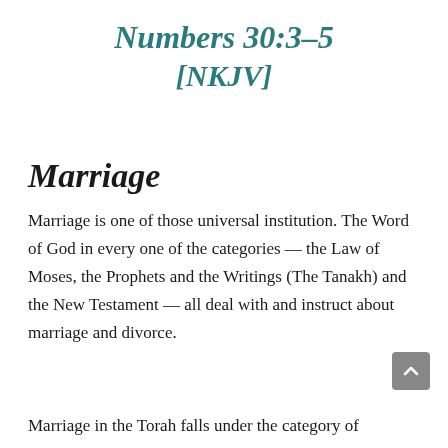Numbers 30:3–5 [NKJV]
Marriage
Marriage is one of those universal institution. The Word of God in every one of the categories — the Law of Moses, the Prophets and the Writings (The Tanakh) and the New Testament — all deal with and instruct about marriage and divorce.
Marriage in the Torah falls under the category of